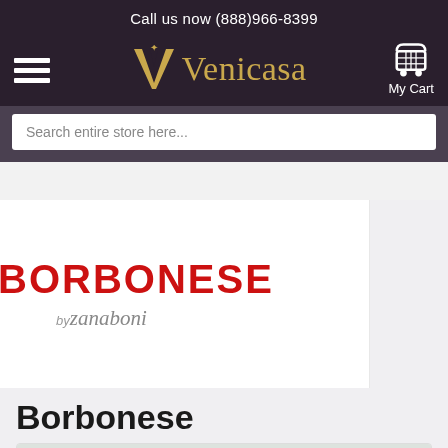Call us now (888)966-8399
[Figure (logo): Venicasa logo with stylized V monogram in gold and the wordmark Venicasa in gold serif font on dark purple background]
[Figure (screenshot): Search bar with placeholder text: Search entire store here...]
[Figure (logo): Borbonese by zanaboni brand logo — BORBONESE in red uppercase bold and zanaboni in gray italic]
Borbonese
[Figure (photo): Partial product image, light gray background visible at bottom of page]